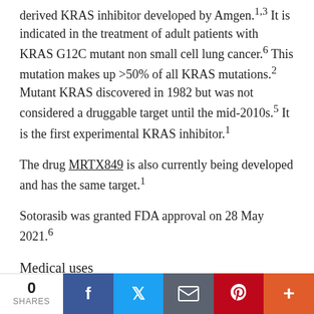derived KRAS inhibitor developed by Amgen.1,3 It is indicated in the treatment of adult patients with KRAS G12C mutant non small cell lung cancer.6 This mutation makes up >50% of all KRAS mutations.2 Mutant KRAS discovered in 1982 but was not considered a druggable target until the mid-2010s.5 It is the first experimental KRAS inhibitor.1
The drug MRTX849 is also currently being developed and has the same target.1
Sotorasib was granted FDA approval on 28 May 2021.6
Medical uses
Sotorasib is indicated for the treatment of adults with KRAS G12C-mutated locally advanced or metastatic non-small cell lung cancer (NSCLC), a[redacted]
[Figure (infographic): Social share bar with 0 shares count, and buttons for Facebook, Twitter, Email, Pinterest, and a plus button]